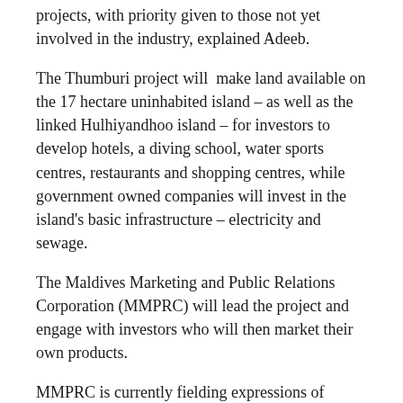projects, with priority given to those not yet involved in the industry, explained Adeeb.
The Thumburi project will make land available on the 17 hectare uninhabited island – as well as the linked Hulhiyandhoo island – for investors to develop hotels, a diving school, water sports centres, restaurants and shopping centres, while government owned companies will invest in the island's basic infrastructure – electricity and sewage.
The Maldives Marketing and Public Relations Corporation (MMPRC) will lead the project and engage with investors who will then market their own products.
MMPRC is currently fielding expressions of interest and expects to begin development by the end of the year.